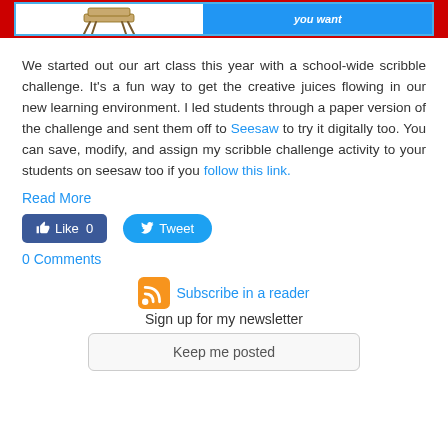[Figure (illustration): Banner with red border containing a white section with a chair illustration and a blue section with cursive text 'you want']
We started out our art class this year with a school-wide scribble challenge. It's a fun way to get the creative juices flowing in our new learning environment. I led students through a paper version of the challenge and sent them off to Seesaw to try it digitally too. You can save, modify, and assign my scribble challenge activity to your students on seesaw too if you follow this link.
Read More
[Figure (screenshot): Facebook Like button showing Like 0 and Twitter Tweet button]
0 Comments
[Figure (logo): RSS feed orange icon]
Subscribe in a reader
Sign up for my newsletter
Keep me posted